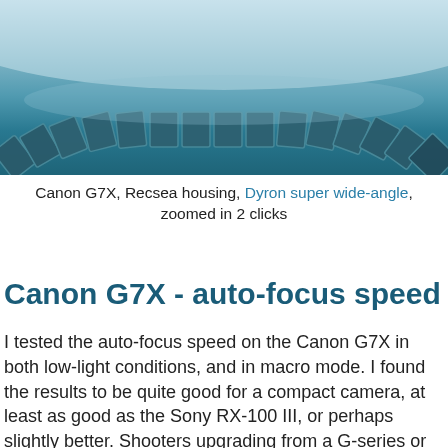[Figure (photo): Underwater or pool photo showing a curved arc of tile or lens elements against light blue water, shot with a wide-angle lens creating a fisheye-like arc effect.]
Canon G7X, Recsea housing, Dyron super wide-angle, zoomed in 2 clicks
Canon G7X - auto-focus speed
I tested the auto-focus speed on the Canon G7X in both low-light conditions, and in macro mode. I found the results to be quite good for a compact camera, at least as good as the Sony RX-100 III, or perhaps slightly better. Shooters upgrading from a G-series or S-serie...